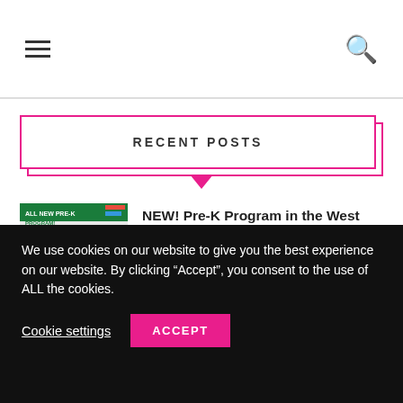Navigation header with hamburger menu and search icon
RECENT POSTS
[Figure (photo): Thumbnail for Pre-K Program post showing children playing with colorful elements and text 'ALL NEW PRE-K PROGRAM!']
NEW! Pre-K Program in the West Island at Inventor STEM School!
[Figure (photo): Thumbnail for 'It Took Me Over Two Years' post showing a wooden surface with a letter T]
It Took Me Over Two Years
We use cookies on our website to give you the best experience on our website. By clicking “Accept”, you consent to the use of ALL the cookies.
Cookie settings
ACCEPT